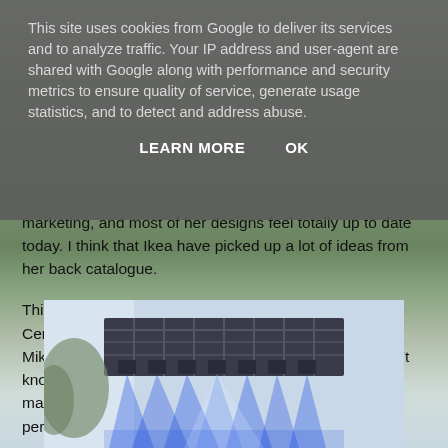This site uses cookies from Google to deliver its services and to analyze traffic. Your IP address and user-agent are shared with Google along with performance and security metrics to ensure quality of service, generate usage statistics, and to detect and address abuse.
LEARN MORE   OK
marketing, and most of her designs feel totally up to date today.  I think that Ikea have picked up a lot of ideas from her back catalogue.
This afternoon we went to a concert at the Southbank Centre called Tubular Bells. This is a famous album by Mike Oldfield but it was a bit before our time so we didn't know most of it. However, it was a great show, and massively livened up by some fantastic acrobats performing to the music.
[Figure (photo): Concert stage with blue spotlights shining upward from a rig structure against a light sky background]